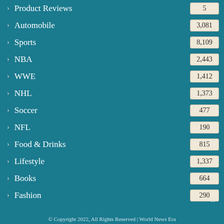Product Reviews 5
Automobile 3,081
Sports 8,109
NBA 2,443
WWE 1,412
NHL 1,373
Soccer 477
NFL 190
Food & Drinks 815
Lifestyle 1,337
Books 664
Fashion 290
© Copyright 2022, All Rights Reserved | World News Era